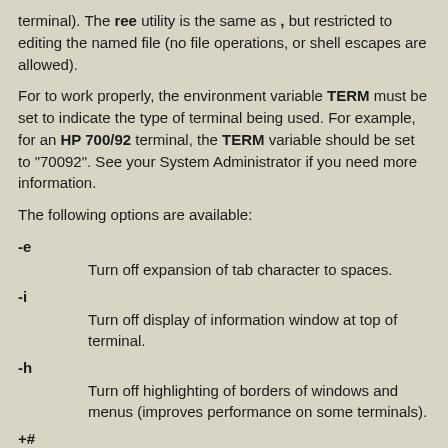terminal). The ree utility is the same as , but restricted to editing the named file (no file operations, or shell escapes are allowed).
For to work properly, the environment variable TERM must be set to indicate the type of terminal being used. For example, for an HP 700/92 terminal, the TERM variable should be set to "70092". See your System Administrator if you need more information.
The following options are available:
-e
    Turn off expansion of tab character to spaces.
-i
    Turn off display of information window at top of terminal.
-h
    Turn off highlighting of borders of windows and menus (improves performance on some terminals).
+#
    Move the cursor to line '#' at startup.
Control keys